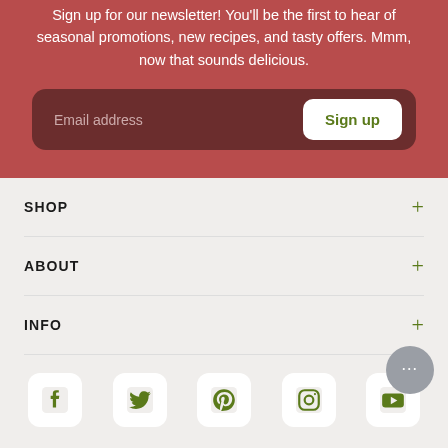Sign up for our newsletter! You'll be the first to hear of seasonal promotions, new recipes, and tasty offers. Mmm, now that sounds delicious.
Email address
Sign up
SHOP
ABOUT
INFO
[Figure (other): Social media icons row: Facebook, Twitter, Pinterest, Instagram, YouTube]
© Copyright 2022 Spoonful of Comfort. All Rights Reserved.
Privacy Policy | Terms of Use | Blog | Refund policy
ecommerce by port80